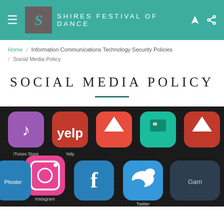Shires Festival of Dance
Home / Information Communications Technology Security Policies / Social Media Policy
SOCIAL MEDIA POLICY
[Figure (photo): Close-up photo of a smartphone screen showing various social media and app icons including iTunes Store, Instagram, Yelp, Twitter, Facebook, Phoster, and others on a dark background]